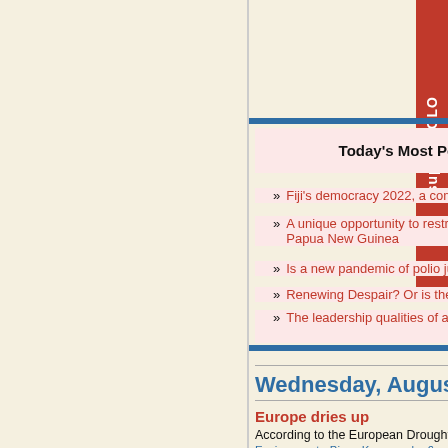Today's Most Popular Articles
Fiji's democracy 2022, a complex situation
A unique opportunity to restructure our relationship with Papua New Guinea
Is a new pandemic of polio just around the corner?
Renewing Despair? Or is there still hope?
The leadership qualities of a long-dead parrot
Wednesday, August 24, 2022
Europe dries up
According to the European Drought Observatory, 64% affected by drought.
Environment - Binoy Kampmark - 6 comments
The leadership qualities of a long-dead parro